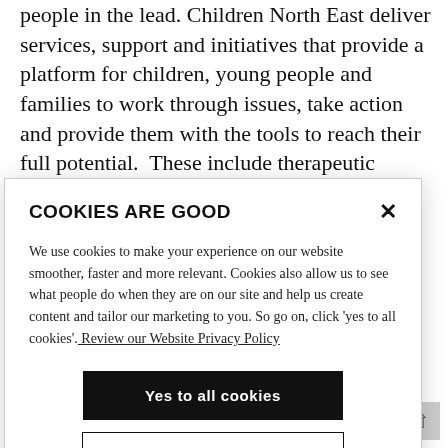people in the lead. Children North East deliver services, support and initiatives that provide a platform for children, young people and families to work through issues, take action and provide them with the tools to reach their full potential.  These include therapeutic services, mental health support, youth work, family support, domestic abuse services, community-based
COOKIES ARE GOOD
We use cookies to make your experience on our website smoother, faster and more relevant. Cookies also allow us to see what people do when they are on our site and help us create content and tailor our marketing to you. So go on, click 'yes to all cookies'. Review our Website Privacy Policy
Yes to all cookies
Let me choose